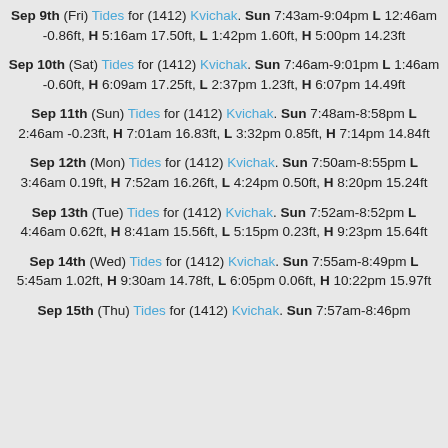Sep 9th (Fri) Tides for (1412) Kvichak. Sun 7:43am-9:04pm L 12:46am -0.86ft, H 5:16am 17.50ft, L 1:42pm 1.60ft, H 5:00pm 14.23ft
Sep 10th (Sat) Tides for (1412) Kvichak. Sun 7:46am-9:01pm L 1:46am -0.60ft, H 6:09am 17.25ft, L 2:37pm 1.23ft, H 6:07pm 14.49ft
Sep 11th (Sun) Tides for (1412) Kvichak. Sun 7:48am-8:58pm L 2:46am -0.23ft, H 7:01am 16.83ft, L 3:32pm 0.85ft, H 7:14pm 14.84ft
Sep 12th (Mon) Tides for (1412) Kvichak. Sun 7:50am-8:55pm L 3:46am 0.19ft, H 7:52am 16.26ft, L 4:24pm 0.50ft, H 8:20pm 15.24ft
Sep 13th (Tue) Tides for (1412) Kvichak. Sun 7:52am-8:52pm L 4:46am 0.62ft, H 8:41am 15.56ft, L 5:15pm 0.23ft, H 9:23pm 15.64ft
Sep 14th (Wed) Tides for (1412) Kvichak. Sun 7:55am-8:49pm L 5:45am 1.02ft, H 9:30am 14.78ft, L 6:05pm 0.06ft, H 10:22pm 15.97ft
Sep 15th (Thu) Tides for (1412) Kvichak. Sun 7:57am-8:46pm